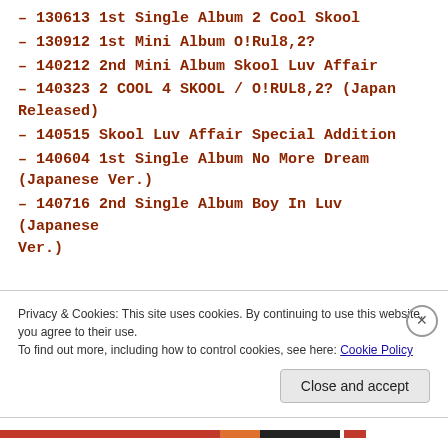– 130613 1st Single Album 2 Cool Skool
– 130912 1st Mini Album O!Rul8,2?
– 140212 2nd Mini Album Skool Luv Affair
– 140323 2 COOL 4 SKOOL / O!RUL8,2? (Japan Released)
– 140515 Skool Luv Affair Special Addition
– 140604 1st Single Album No More Dream (Japanese Ver.)
– 140716 2nd Single Album Boy In Luv (Japanese Ver.)
Privacy & Cookies: This site uses cookies. By continuing to use this website, you agree to their use.
To find out more, including how to control cookies, see here: Cookie Policy
Close and accept